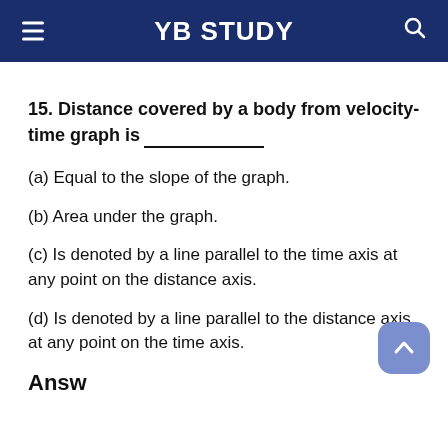YB STUDY
15. Distance covered by a body from velocity-time graph is________
(a) Equal to the slope of the graph.
(b) Area under the graph.
(c) Is denoted by a line parallel to the time axis at any point on the distance axis.
(d) Is denoted by a line parallel to the distance axis at any point on the time axis.
Answer: